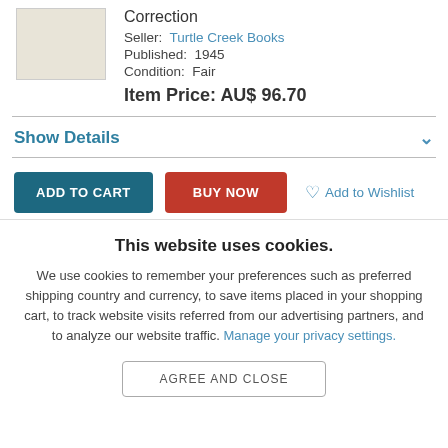[Figure (photo): Book cover placeholder image (light beige rectangle)]
Correction
Seller: Turtle Creek Books
Published: 1945
Condition: Fair
Item Price: AU$ 96.70
Show Details
ADD TO CART
BUY NOW
Add to Wishlist
This website uses cookies.
We use cookies to remember your preferences such as preferred shipping country and currency, to save items placed in your shopping cart, to track website visits referred from our advertising partners, and to analyze our website traffic. Manage your privacy settings.
AGREE AND CLOSE